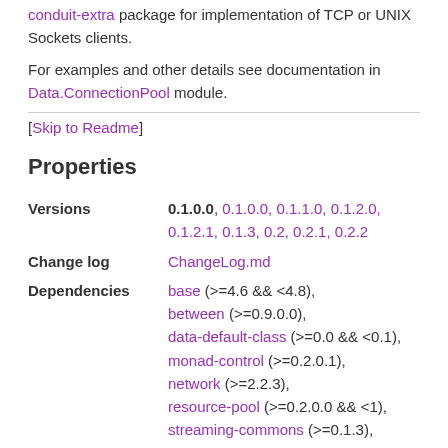conduit-extra package for implementation of TCP or UNIX Sockets clients.
For examples and other details see documentation in Data.ConnectionPool module.
[Skip to Readme]
Properties
| Property | Value |
| --- | --- |
| Versions | 0.1.0.0, 0.1.0.0, 0.1.1.0, 0.1.2.0, 0.1.2.1, 0.1.3, 0.2, 0.2.1, 0.2.2 |
| Change log | ChangeLog.md |
| Dependencies | base (>=4.6 && <4.8), between (>=0.9.0.0), data-default-class (>=0.0 && <0.1), monad-control (>=0.2.0.1), network (>=2.2.3), resource-pool (>=0.2.0.0 && <1), streaming-commons (>=0.1.3), time (>=1.0), |